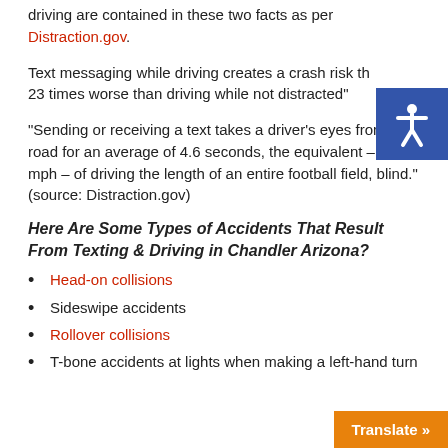driving are contained in these two facts as per Distraction.gov.
Text messaging while driving creates a crash risk that is 23 times worse than driving while not distracted"
"Sending or receiving a text takes a driver's eyes from the road for an average of 4.6 seconds, the equivalent – at 55 mph – of driving the length of an entire football field, blind." (source: Distraction.gov)
Here Are Some Types of Accidents That Result From Texting & Driving in Chandler Arizona?
Head-on collisions
Sideswipe accidents
Rollover collisions
T-bone accidents at lights when making a left-hand turn